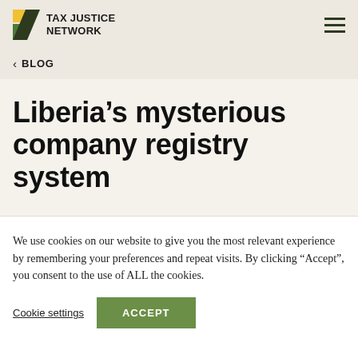TAX JUSTICE NETWORK
< BLOG
Liberia’s mysterious company registry system
We use cookies on our website to give you the most relevant experience by remembering your preferences and repeat visits. By clicking “Accept”, you consent to the use of ALL the cookies.
Cookie settings  ACCEPT